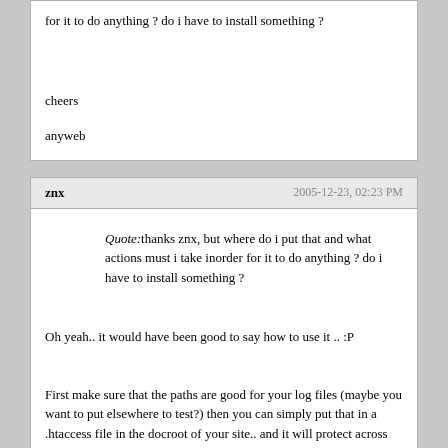for it to do anything ? do i have to install something ?
cheers
anyweb
znx
2005-12-23, 02:23 PM
Quote:thanks znx, but where do i put that and what actions must i take inorder for it to do anything ? do i have to install something ?
Oh yeah.. it would have been good to say how to use it .. :P
First make sure that the paths are good for your log files (maybe you want to put elsewhere to test?) then you can simply put that in a .htaccess file in the docroot of your site.. and it will protect across the whole site then...